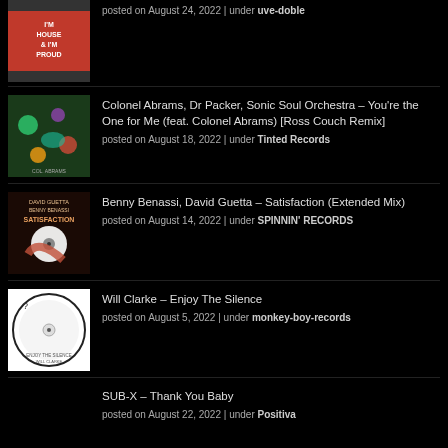posted on August 24, 2022 | under uve-doble
Colonel Abrams, Dr Packer, Sonic Soul Orchestra – You're the One for Me (feat. Colonel Abrams) [Ross Couch Remix]
posted on August 18, 2022 | under Tinted Records
Benny Benassi, David Guetta – Satisfaction (Extended Mix)
posted on August 14, 2022 | under SPINNIN' RECORDS
Will Clarke – Enjoy The Silence
posted on August 5, 2022 | under monkey-boy-records
SUB-X – Thank You Baby
posted on August 22, 2022 | under Positiva